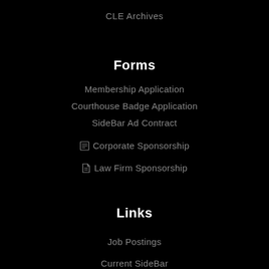CLE Archives
Forms
Membership Application
Courthouse Badge Application
SideBar Ad Contract
📋 Corporate Sponsorship
📄 Law Firm Sponsorship
Links
Job Postings
Current SideBar